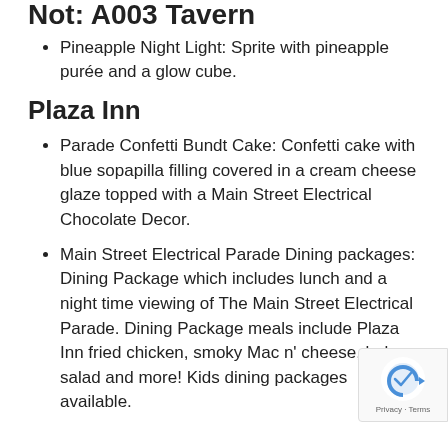Not: A003 Tavern
Pineapple Night Light: Sprite with pineapple purée and a glow cube.
Plaza Inn
Parade Confetti Bundt Cake: Confetti cake with blue sopapilla filling covered in a cream cheese glaze topped with a Main Street Electrical Chocolate Decor.
Main Street Electrical Parade Dining packages: Dining Package which includes lunch and a night time viewing of The Main Street Electrical Parade. Dining Package meals include Plaza Inn fried chicken, smoky Mac n' cheese, baby w salad and more! Kids dining packages available.